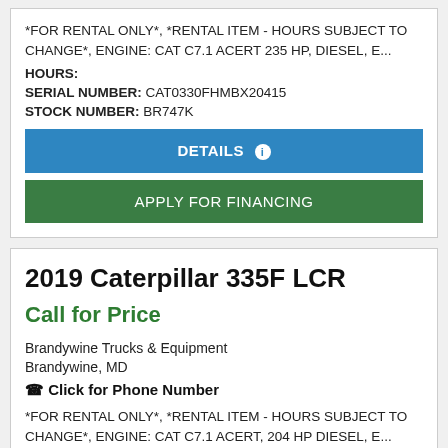*FOR RENTAL ONLY*, *RENTAL ITEM - HOURS SUBJECT TO CHANGE*, ENGINE: CAT C7.1 ACERT 235 HP, DIESEL, E...
HOURS:
SERIAL NUMBER: CAT0330FHMBX20415
STOCK NUMBER: BR747K
DETAILS
APPLY FOR FINANCING
2019 Caterpillar 335F LCR
Call for Price
Brandywine Trucks & Equipment
Brandywine, MD
Click for Phone Number
*FOR RENTAL ONLY*, *RENTAL ITEM - HOURS SUBJECT TO CHANGE*, ENGINE: CAT C7.1 ACERT, 204 HP DIESEL, E...
HOURS:
SERIAL NUMBER: CAT0335FASG-J28702